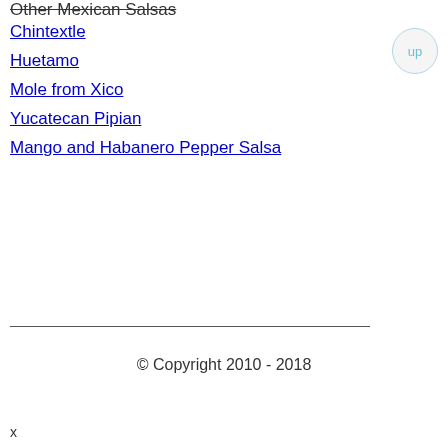Other Mexican Salsas
Chintextle
Huetamo
Mole from Xico
Yucatecan Pipian
Mango and Habanero Pepper Salsa
© Copyright 2010 - 2018